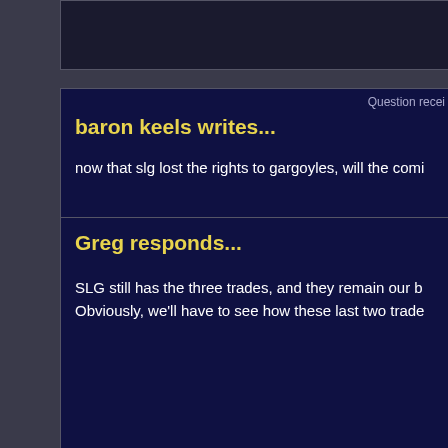Question recei
baron keels writes...
now that slg lost the rights to gargoyles, will the comi
Greg responds...
SLG still has the three trades, and they remain our b Obviously, we'll have to see how these last two trade
« First   Displaying #22 - #46 of 71 records.   Last »
Gargoyles and all related characters and elements are trademarks of ar Walt Disney Company. This web site is in no way affiliated with Buena V views expressed within this web site do not reflect those of The Walt Dis copyright infringement is intended.